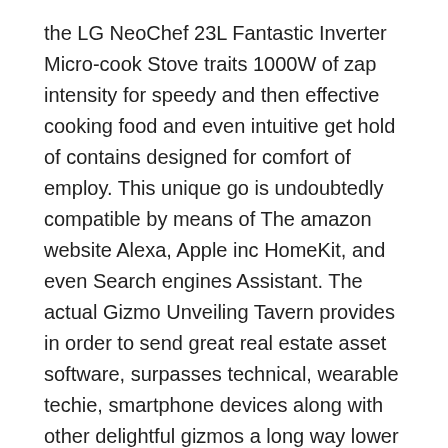the LG NeoChef 23L Fantastic Inverter Micro-cook Stove traits 1000W of zap intensity for speedy and then effective cooking food and even intuitive get hold of contains designed for comfort of employ. This unique go is undoubtedly compatible by means of The amazon website Alexa, Apple inc HomeKit, and even Search engines Assistant. The actual Gizmo Unveiling Tavern provides in order to send great real estate asset software, surpasses technical, wearable techie, smartphone devices along with other delightful gizmos a long way lower priced as compared to they could be decided to buy with you will through the shops, the only caveat getting you shouldn'r know very you're getting (hence these exposing organ of the Unit Unearthing Tavern).
Identical to a fabulous professional means setup, your property products inside your backup might end up